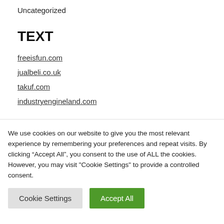Uncategorized
TEXT
freeisfun.com
jualbeli.co.uk
takuf.com
industryengineland.com
Archives
We use cookies on our website to give you the most relevant experience by remembering your preferences and repeat visits. By clicking “Accept All”, you consent to the use of ALL the cookies. However, you may visit "Cookie Settings" to provide a controlled consent.
Cookie Settings | Accept All